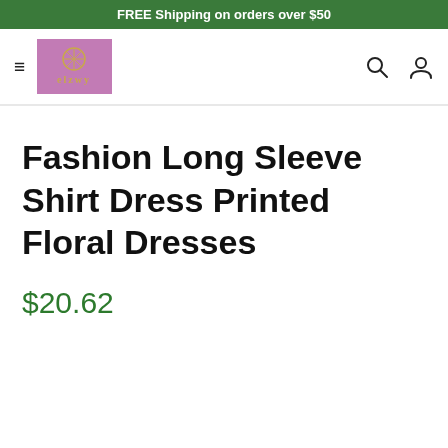FREE Shipping on orders over $50
[Figure (logo): elzwy brand logo, purple/mauve background with gold ornamental symbol and text]
Fashion Long Sleeve Shirt Dress Printed Floral Dresses
$20.62